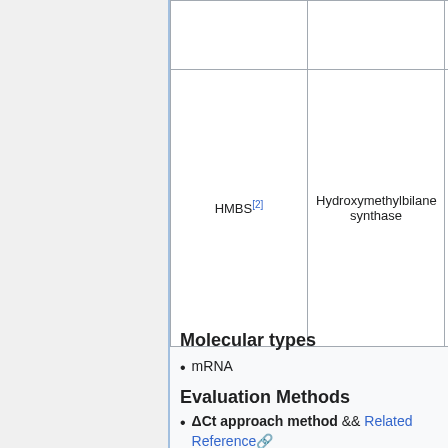| Gene Symbol | Gene Name |  |
| --- | --- | --- |
|  |  | • |
| HMBS[2] | Hydroxymethylbilane synthase | • |
Molecular types
mRNA
Evaluation Methods
ΔCt approach method && Related Reference
Contact
Name: Zhuang Ding